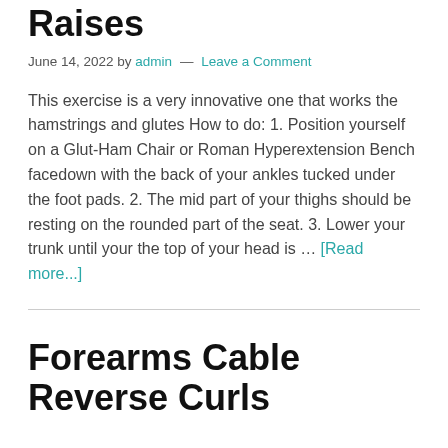Raises
June 14, 2022 by admin — Leave a Comment
This exercise is a very innovative one that works the hamstrings and glutes How to do: 1. Position yourself on a Glut-Ham Chair or Roman Hyperextension Bench facedown with the back of your ankles tucked under the foot pads. 2. The mid part of your thighs should be resting on the rounded part of the seat. 3. Lower your trunk until your the top of your head is … [Read more...]
Forearms Cable Reverse Curls